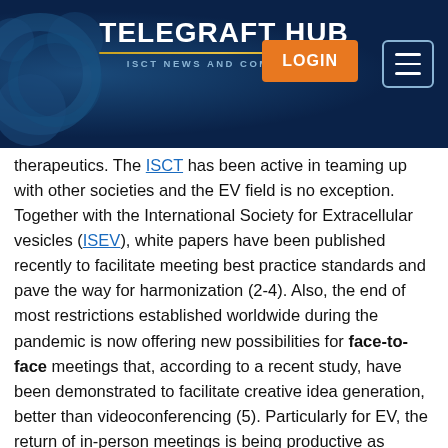TELEGRAFT HUB — ISCT NEWS AND COMMUNITY
therapeutics. The ISCT has been active in teaming up with other societies and the EV field is no exception. Together with the International Society for Extracellular vesicles (ISEV), white papers have been published recently to facilitate meeting best practice standards and pave the way for harmonization (2-4). Also, the end of most restrictions established worldwide during the pandemic is now offering new possibilities for face-to-face meetings that, according to a recent study, have been demonstrated to facilitate creative idea generation, better than videoconferencing (5). Particularly for EV, the return of in-person meetings is being productive as illustrated by a couple of examples, like the ISEV 2022 annual meeting (Lyon, France) in Europe, and the 30th ISCT Annual Meeting (San Francisco, CA) in North America, this way recovering